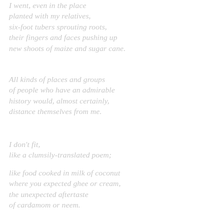I went, even in the place
planted with my relatives,
six-foot tubers sprouting roots,
their fingers and faces pushing up
new shoots of maize and sugar cane.
All kinds of places and groups
of people who have an admirable
history would, almost certainly,
distance themselves from me.
I don't fit,
like a clumsily-translated poem;
like food cooked in milk of coconut
where you expected ghee or cream,
the unexpected aftertaste
of cardamom or neem.